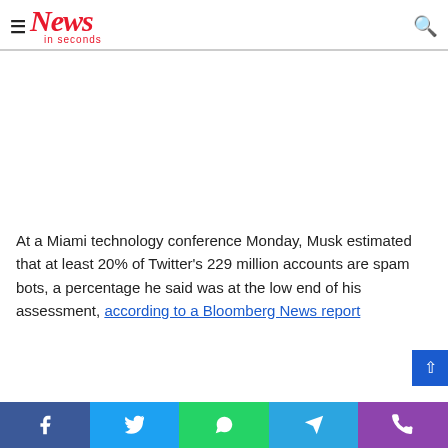News in seconds
[Figure (other): Advertisement / blank white area placeholder]
At a Miami technology conference Monday, Musk estimated that at least 20% of Twitter's 229 million accounts are spam bots, a percentage he said was at the low end of his assessment, according to a Bloomberg News report
Social share bar: Facebook, Twitter, WhatsApp, Telegram, Phone